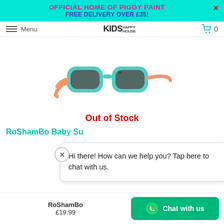OFFICIAL HOME OF PIGGY PAINT
FREE DELIVERY OVER £35!
Menu
[Figure (logo): KIDS HAPPY HOUSE logo with shopping cart icon and 0]
[Figure (photo): Children's sunglasses with teal/turquoise frame and orange/peach arms, dark lenses]
Out of Stock
RoShamBo Baby Su
Hi there! How can we help you? Tap here to chat with us.
RoShamBo
£19.99
Chat with us